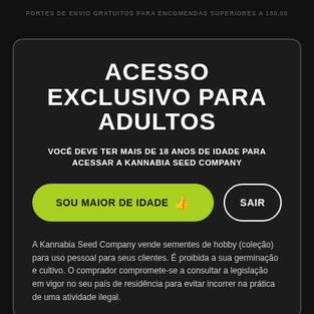PORTES DE ENVIO GRATUITOS PARA ENCOMENDAS SUPERIORES A 180,00
ACESSO EXCLUSIVO PARA ADULTOS
VOCÊ DEVE TER MAIS DE 18 ANOS DE IDADE PARA ACESSAR A KANNABIA SEED COMPANY
SOU MAIOR DE IDADE 👍
SAIR
A Kannabia Seed Company vende sementes de hobby (coleção) para uso pessoal para seus clientes. É proibida a sua germinação e cultivo. O comprador compromete-se a consultar a legislação em vigor no seu país de residência para evitar incorrer na prática de uma atividade ilegal.
ESPÉCIES